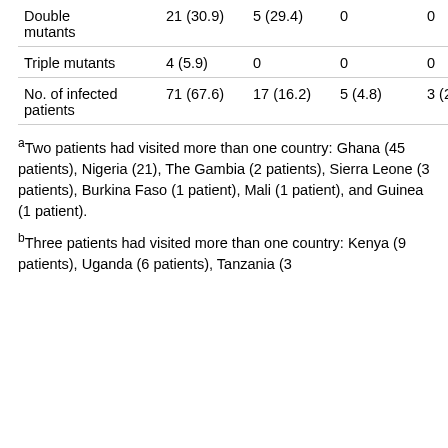| Double mutants | 21 (30.9) | 5 (29.4) | 0 | 0 |
| Triple mutants | 4 (5.9) | 0 | 0 | 0 |
| No. of infected patients | 71 (67.6) | 17 (16.2) | 5 (4.8) | 3 (2.9) |
aTwo patients had visited more than one country: Ghana (45 patients), Nigeria (21), The Gambia (2 patients), Sierra Leone (3 patients), Burkina Faso (1 patient), Mali (1 patient), and Guinea (1 patient).
bThree patients had visited more than one country: Kenya (9 patients), Uganda (6 patients), Tanzania (3 patients)...